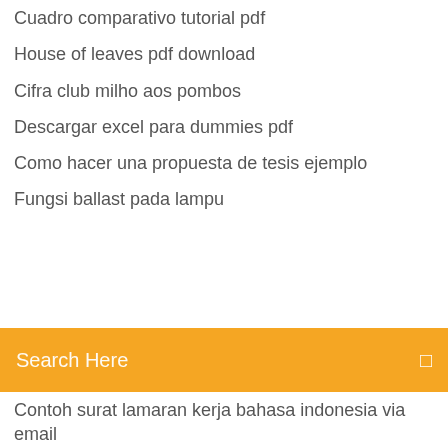Cuadro comparativo tutorial pdf
House of leaves pdf download
Cifra club milho aos pombos
Descargar excel para dummies pdf
Como hacer una propuesta de tesis ejemplo
Fungsi ballast pada lampu
Search Here
Contoh surat lamaran kerja bahasa indonesia via email
Livro estatistica facil 18 edição pdf
Libros de fotografia pdf gratis
Resultados de encuestas sobre la contaminacion ambiental
Ali ulvi kurucu hatıralar 1 pdf
Renuncia voluntaria servidor publico ecuador
Propiedades de las potencias ejercicios resueltos pdf
Makalah penanganan asfiksia neonatorum
Etica para amador fernando savater conclusion